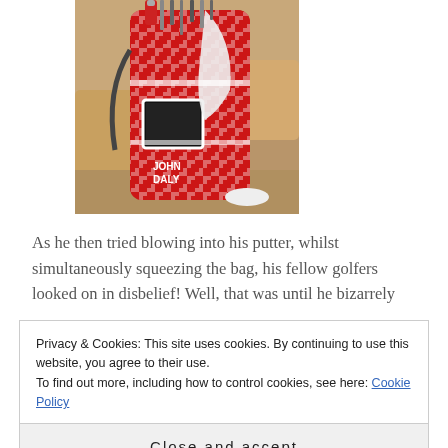[Figure (photo): Photo of a red and white houndstooth-patterned golf bag with 'JOHN DALY' text on it, with golf clubs sticking out the top, sitting in what appears to be a hotel lobby or lounge area.]
As he then tried blowing into his putter, whilst simultaneously squeezing the bag, his fellow golfers looked on in disbelief! Well, that was until he bizarrely
Privacy & Cookies: This site uses cookies. By continuing to use this website, you agree to their use.
To find out more, including how to control cookies, see here: Cookie Policy
Close and accept